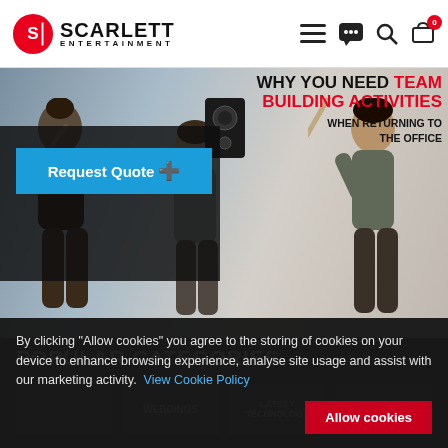[Figure (screenshot): Scarlett Entertainment website screenshot showing navigation bar with logo, hamburger menu, chat, search and cart icons]
[Figure (photo): Hero banner image showing team of people doing a high-five group gesture, overlaid with text 'WHY YOU NEED TEAM BUILDING ACTIVITIES WHEN RETURNING TO THE OFFICE' and a blue Request Quote button]
POPULAR CATEGORIES
By clicking "Allow cookies" you agree to the storing of cookies on your device to enhance browsing experience, analyse site usage and assist with our marketing activity. View Cookie Policy
Allow cookies